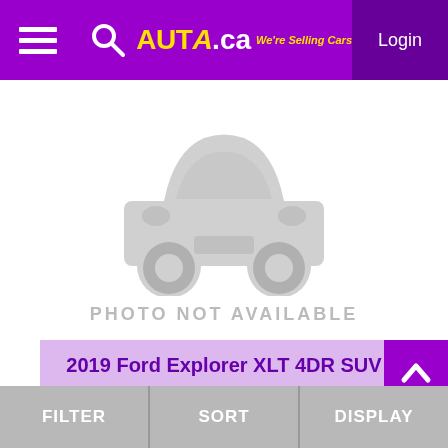AUTA.ca We're Selling Cars! Login
[Figure (illustration): Car silhouette placeholder image with text PHOTO NOT AVAILABLE]
2019 Ford Explorer XLT 4DR SUV
194412 km   $21,799 USD
FILTER   SORT   DISPLAY